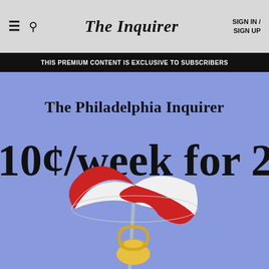The Inquirer  |  SIGN IN / SIGN UP
THIS PREMIUM CONTENT IS EXCLUSIVE TO SUBSCRIBERS
The Philadelphia Inquirer
10¢/week for 2 m
[Figure (illustration): Beach umbrella illustration — red and white striped parasol with a yellow beach bag below, on a blue background]